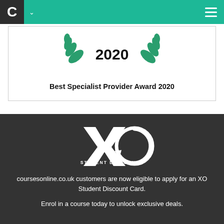C [nav] [menu]
[Figure (illustration): Award badge with green laurel leaves and year 2020]
Best Specialist Provider Award 2020
[Figure (logo): XO Student Discounts logo — stylized X and O circle with text STUDENT DISCOUNTS]
coursesonline.co.uk customers are now eligible to apply for an XO Student Discount Card.
Enrol in a course today to unlock exclusive deals.